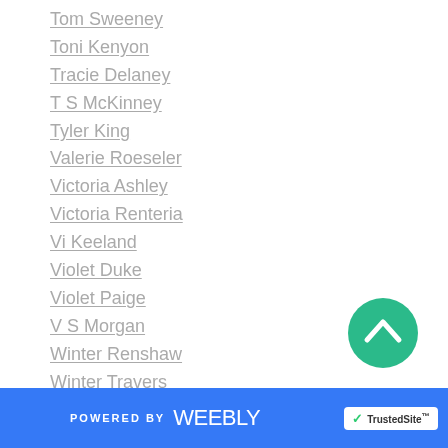Tom Sweeney
Toni Kenyon
Tracie Delaney
T S McKinney
Tyler King
Valerie Roeseler
Victoria Ashley
Victoria Renteria
Vi Keeland
Violet Duke
Violet Paige
V S Morgan
Winter Renshaw
Winter Travers
W S Greer
RSS Feed
[Figure (other): Back to top button — teal circle with upward chevron arrow]
POWERED BY weebly | TrustedSite